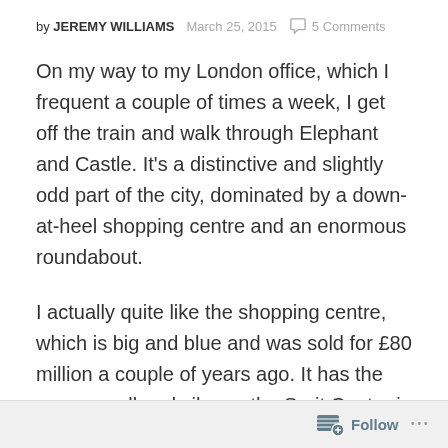by JEREMY WILLIAMS   March 25, 2015   5 Comments
On my way to my London office, which I frequent a couple of times a week, I get off the train and walk through Elephant and Castle. It's a distinctive and slightly odd part of the city, dominated by a down-at-heel shopping centre and an enormous roundabout.
I actually quite like the shopping centre, which is big and blue and was sold for £80 million a couple of years ago. It has the same smell and vibe as the Sarit Center in Nairobi in the late 90s. That is wonderful to me but, perhaps understandably,